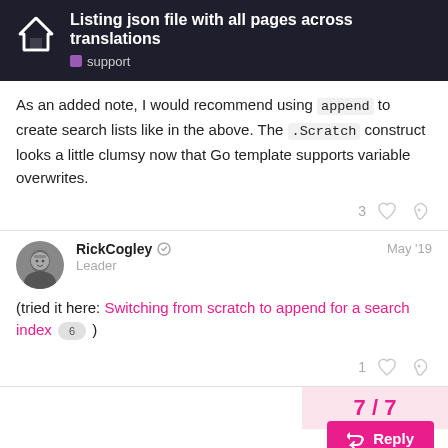Listing json file with all pages across translations — support
As an added note, I would recommend using append to create search lists like in the above. The .Scratch construct looks a little clumsy now that Go template supports variable overwrites.
RickCogley — Leader — May '19
(tried it here: Switching from scratch to append for a search index 6 )
7 / 7
Reply
Suggested Topics